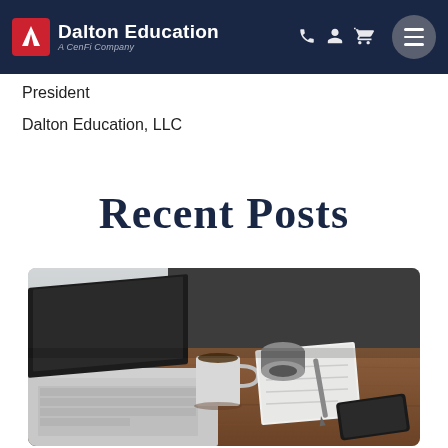Dalton Education — A CenFi Company
President
Dalton Education, LLC
Recent Posts
[Figure (photo): Overhead view of a wooden desk with a laptop, coffee mug, notepad with pen, and smartphone]